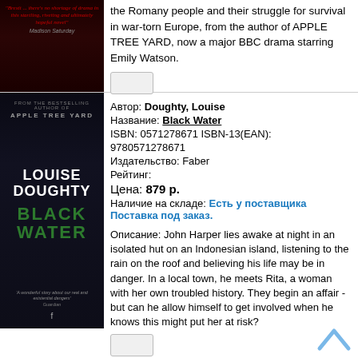the Romany people and their struggle for survival in war-torn Europe, from the author of APPLE TREE YARD, now a major BBC drama starring Emily Watson.
[Figure (photo): Book cover with red text quote on dark background (partial, top cropped)]
Автор: Doughty, Louise
Название: Black Water
ISBN: 0571278671 ISBN-13(EAN): 9780571278671
Издательство: Faber
Рейтинг:
Цена: 879 р.
Наличие на складе: Есть у поставщика Поставка под заказ.
Описание: John Harper lies awake at night in an isolated hut on an Indonesian island, listening to the rain on the roof and believing his life may be in danger. In a local town, he meets Rita, a woman with her own troubled history. They begin an affair - but can he allow himself to get involved when he knows this might put her at risk?
[Figure (photo): Black Water book cover by Louise Doughty - dark cover showing window with green light]
Автор: Doughty Louise
Название: Apple Tree Yard